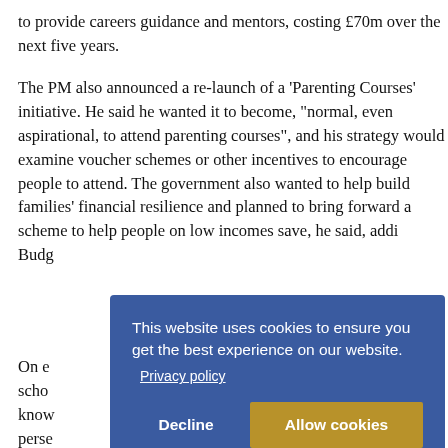to provide careers guidance and mentors, costing £70m over the next five years.
The PM also announced a re-launch of a 'Parenting Courses' initiative. He said he wanted it to become, "normal, even aspirational, to attend parenting courses", and his strategy would examine voucher schemes or other incentives to encourage people to attend. The government also wanted to help build families' financial resilience and planned to bring forward a scheme to help people on low incomes save, he said, addi[...] Budg[...]
On e[...] scho[...] know[...] perse[...] and [...] Moth[...]
[Figure (screenshot): Cookie consent overlay on a blue background. Text reads: 'This website uses cookies to ensure you get the best experience on our website.' with a 'Privacy policy' link. Two buttons: 'Decline' (left, no fill) and 'Allow cookies' (right, gold/amber background).]